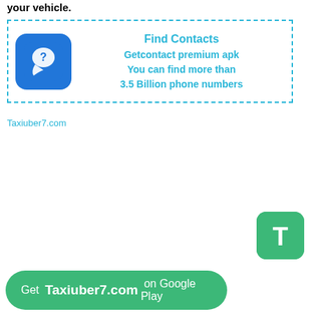your vehicle.
[Figure (infographic): Ad box with dashed cyan border containing a blue phone/question-mark app icon on the left and cyan bold text on the right: 'Find Contacts Getcontact premium apk You can find more than 3.5 Billion phone numbers']
Taxiuber7.com
[Figure (logo): Green rounded square button with white letter T]
Get Taxiuber7.com on Google Play